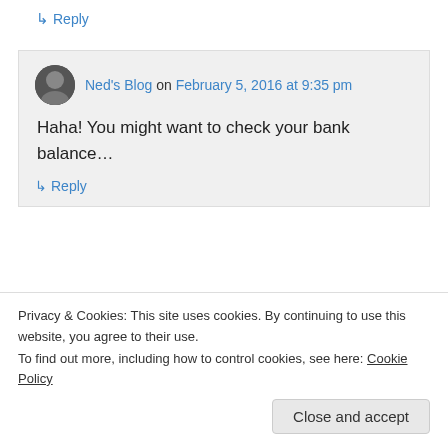↳ Reply
Ned's Blog on February 5, 2016 at 9:35 pm
Haha! You might want to check your bank balance…
↳ Reply
dgkaye on February 6, 2016 at 8:21
Privacy & Cookies: This site uses cookies. By continuing to use this website, you agree to their use.
To find out more, including how to control cookies, see here: Cookie Policy
Close and accept